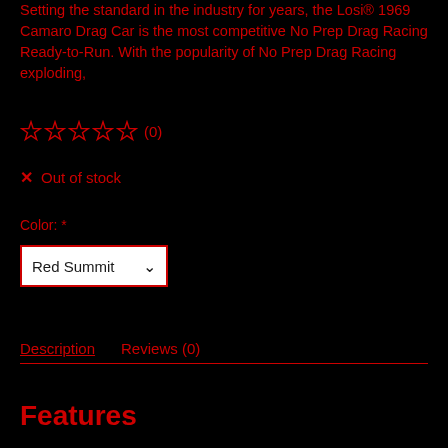Setting the standard in the industry for years, the Losi® 1969 Camaro Drag Car is the most competitive No Prep Drag Racing Ready-to-Run. With the popularity of No Prep Drag Racing exploding,
☆ ☆ ☆ ☆ ☆ (0)
✕ Out of stock
Color: *
Red Summit
Description    Reviews (0)
Features